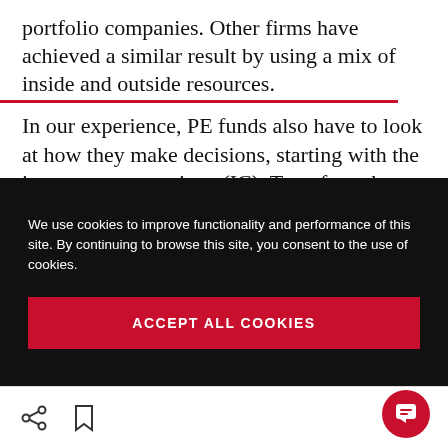portfolio companies. Other firms have achieved a similar result by using a mix of inside and outside resources.
In our experience, PE funds also have to look at how they make decisions, starting with the investment committee (IC). Too often, the firm lacks a full understanding of how macro and competitive dynamics will affect portfolio
We use cookies to improve functionality and performance of this site. By continuing to browse this site, you consent to the use of cookies.
ACCEPT ALL COOKIES